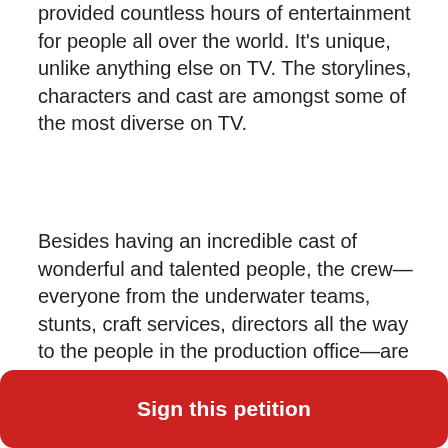provided countless hours of entertainment for people all over the world. It's unique, unlike anything else on TV. The storylines, characters and cast are amongst some of the most diverse on TV.
Besides having an incredible cast of wonderful and talented people, the crew—everyone from the underwater teams, stunts, craft services, directors all the way to the people in the production office—are some of the hardest working and creative people in the business. They all played a part in bringing Siren to life. They all deserve to have the show continue.
It can't end now! We need more, we NEED season 4!! There's no other show that brings mermaids to life
Sign this petition